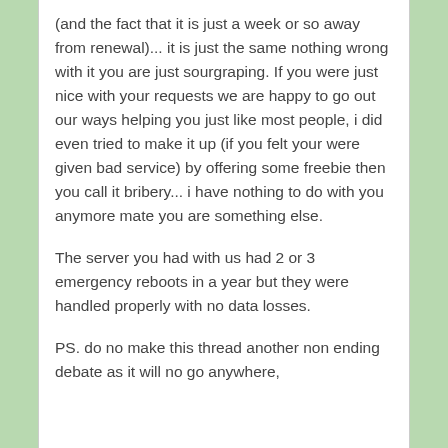(and the fact that it is just a week or so away from renewal)... it is just the same nothing wrong with it you are just sourgraping. If you were just nice with your requests we are happy to go out our ways helping you just like most people, i did even tried to make it up (if you felt your were given bad service) by offering some freebie then you call it bribery... i have nothing to do with you anymore mate you are something else.
The server you had with us had 2 or 3 emergency reboots in a year but they were handled properly with no data losses.
PS. do no make this thread another non ending debate as it will no go anywhere,